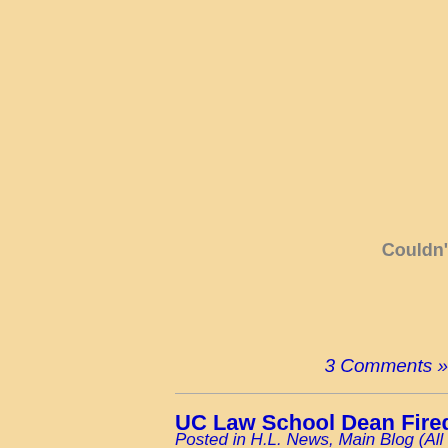Couldn'
3 Comments »
UC Law School Dean Fired f
Posted in H.L. News, Main Blog (All Pos